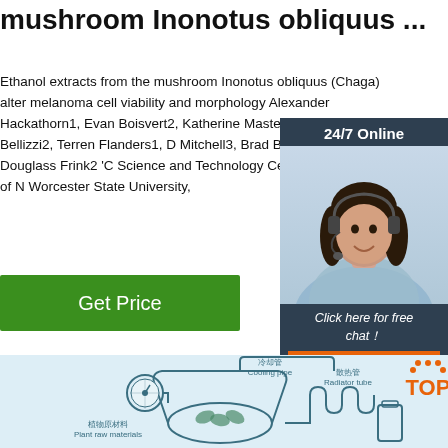mushroom Inonotus obliquus ...
Ethanol extracts from the mushroom Inonotus obliquus (Chaga) alter melanoma cell viability and morphology Alexander Hackathorn1, Evan Boisvert2, Katherine Masterjohn1, Holly Bellizzi2, Terren Flanders1, D Mitchell3, Brad Bryan1'4, and Douglass Frink2 'C Science and Technology Center, Department of N Worcester State University,
[Figure (infographic): 24/7 Online chat widget with a woman wearing a headset, dark blue background, 'Click here for free chat!' text, and an orange 'QUOTATION' button]
Get Price
[Figure (engineering-diagram): Light blue background engineering diagram showing plant extraction equipment with labels in Chinese and English: 冷却管 Cooling pipe, 散热管 Radiator tube, 植物原材料 Plant raw materials, and an orange TOP logo with dots]